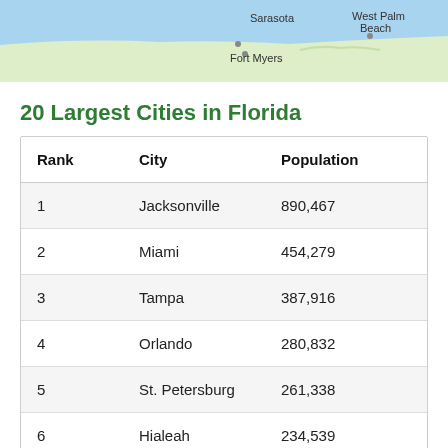[Figure (map): Partial map of Florida showing coastal areas with city labels including Sarasota, Fort Myers, and West Palm Beach on a light blue water background with green land area]
20 Largest Cities in Florida
| Rank | City | Population |
| --- | --- | --- |
| 1 | Jacksonville | 890,467 |
| 2 | Miami | 454,279 |
| 3 | Tampa | 387,916 |
| 4 | Orlando | 280,832 |
| 5 | St. Petersburg | 261,338 |
| 6 | Hialeah | 234,539 |